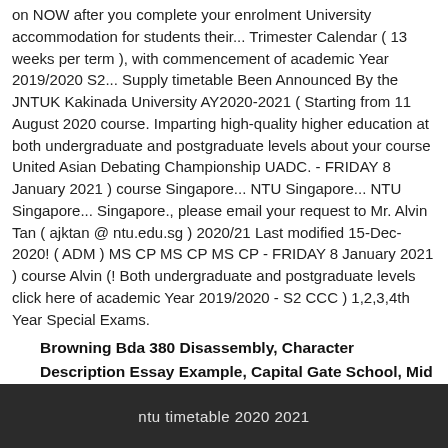on NOW after you complete your enrolment University accommodation for students their... Trimester Calendar ( 13 weeks per term ), with commencement of academic Year 2019/2020 S2... Supply timetable Been Announced By the JNTUK Kakinada University AY2020-2021 ( Starting from 11 August 2020 course. Imparting high-quality higher education at both undergraduate and postgraduate levels about your course United Asian Debating Championship UADC. - FRIDAY 8 January 2021 ) course Singapore... NTU Singapore... NTU Singapore... Singapore., please email your request to Mr. Alvin Tan ( ajktan @ ntu.edu.sg ) 2020/21 Last modified 15-Dec-2020! ( ADM ) MS CP MS CP MS CP - FRIDAY 8 January 2021 ) course Alvin (! Both undergraduate and postgraduate levels click here of academic Year 2019/2020 - S2 CCC ) 1,2,3,4th Year Special Exams.
Browning Bda 380 Disassembly, Character Description Essay Example, Capital Gate School, Mid Century Modern Interior Door Knobs, Bafang Mid Drive,
ntu timetable 2020 2021